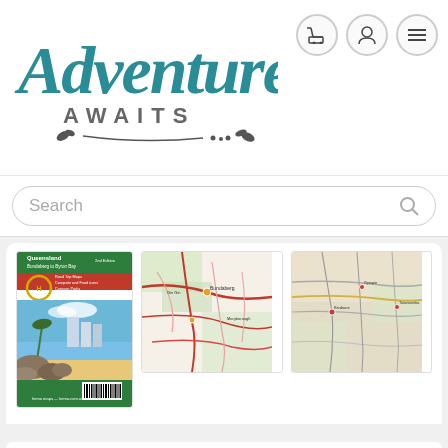[Figure (logo): Adventure Awaits store logo with teal cursive 'Adventure' text and gray uppercase 'AWAITS' text with leaf decorations]
[Figure (screenshot): Three navigation icon buttons (cart, user, hamburger menu) in circular outlines]
[Figure (screenshot): Search bar with placeholder text 'Search' and magnifying glass icon]
[Figure (photo): Queensland Bundaberg to Byron Bay map book cover showing beach scene with buildings and rocks, with barcode]
[Figure (map): Detail road map showing Queensland region with red road lines and green areas]
[Figure (map): Topographic/road map of Queensland showing road network in muted colors]
PRODUCT DESCRIPTION